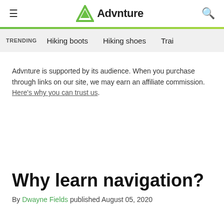Advnture
TRENDING   Hiking boots   Hiking shoes   Trail
Advnture is supported by its audience. When you purchase through links on our site, we may earn an affiliate commission. Here's why you can trust us.
Why learn navigation?
By Dwayne Fields published August 05, 2020